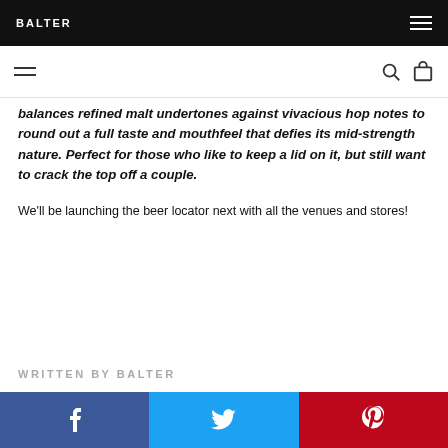BALTER
balances refined malt undertones against vivacious hop notes to round out a full taste and mouthfeel that defies its mid-strength nature. Perfect for those who like to keep a lid on it, but still want to crack the top off a couple.
We'll be launching the beer locator next with all the venues and stores!
WRITTEN BY BALTER